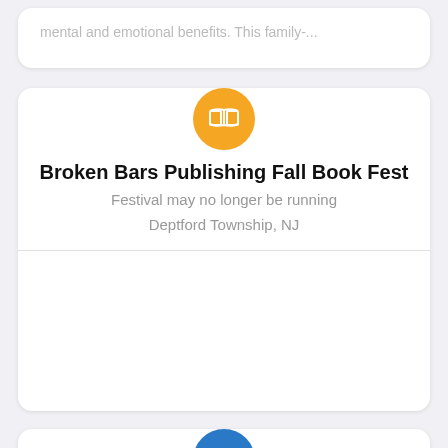mental and emotional benefits. This family-...
[Figure (illustration): Orange circle icon with open book symbol (white)]
Broken Bars Publishing Fall Book Fest
Festival may no longer be running
Deptford Township, NJ
[Figure (illustration): Blue circle icon with snowflake symbol (white)]
All Hallow's Eve Fall Festival
Oct 2022 Dates Unconfirmed
Schwenksville, PA